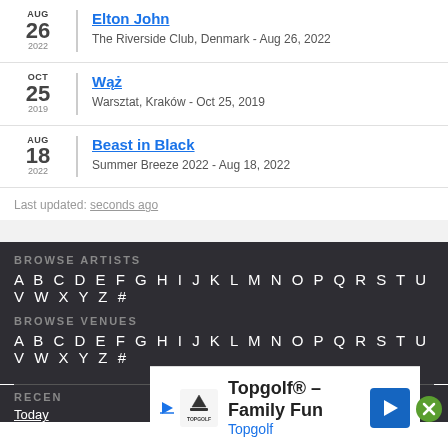Elton John - The Riverside Club, Denmark - Aug 26, 2022 (AUG 26 2022)
Wąż - Warsztat, Kraków - Oct 25, 2019 (OCT 25 2019)
Beast in Black - Summer Breeze 2022 - Aug 18, 2022 (AUG 18 2022)
Last updated: seconds ago
BROWSE ARTISTS
A B C D E F G H I J K L M N O P Q R S T U V W X Y Z #
BROWSE VENUES
A B C D E F G H I J K L M N O P Q R S T U V W X Y Z #
RECEN
Today
[Figure (infographic): Advertisement banner for Topgolf - Family Fun with Topgolf logo, play icon, close button]